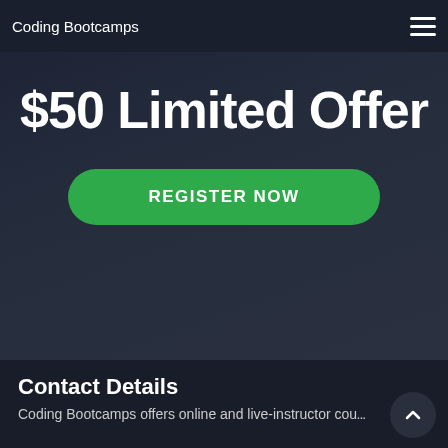Coding Bootcamps
$50 Limited Offer
REGISTER NOW
Contact Details
Coding Bootcamps offers online and live-instructor co... and to back a training are in a...